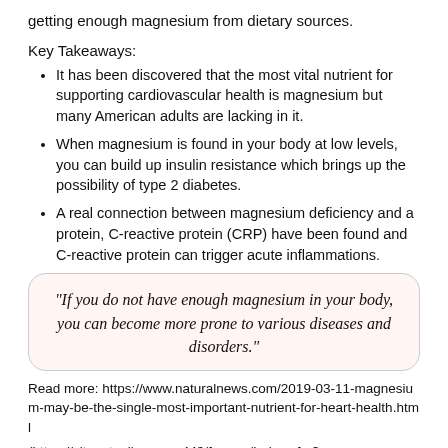getting enough magnesium from dietary sources.
Key Takeaways:
It has been discovered that the most vital nutrient for supporting cardiovascular health is magnesium but many American adults are lacking in it.
When magnesium is found in your body at low levels, you can build up insulin resistance which brings up the possibility of type 2 diabetes.
A real connection between magnesium deficiency and a protein, C-reactive protein (CRP) have been found and C-reactive protein can trigger acute inflammations.
"If you do not have enough magnesium in your body, you can become more prone to various diseases and disorders."
Read more: https://www.naturalnews.com/2019-03-11-magnesium-may-be-the-single-most-important-nutrient-for-heart-health.html
(https://vitanetonline.com:443/forums/Index.cfm?